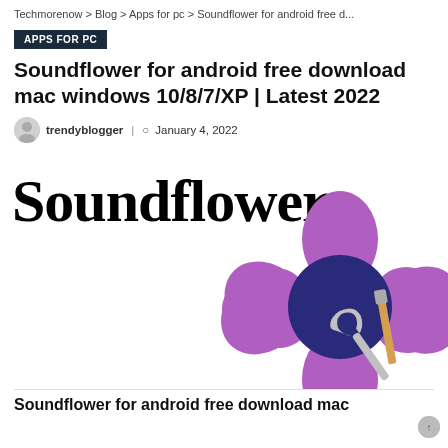Techmorenow > Blog > Apps for pc > Soundflower for android free d...
APPS FOR PC
Soundflower for android free download mac windows 10/8/7/XP | Latest 2022
trendyblogger | January 4, 2022
[Figure (logo): Soundflower logo with large bold text 'Soundflower' and a purple flower graphic with a dark blue center, overlaid with a hammer and wrench icon]
Soundflower for android free download mac